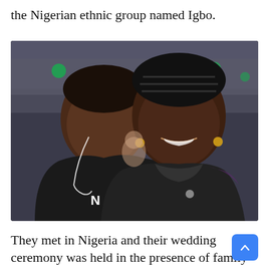the Nigerian ethnic group named Igbo.
[Figure (photo): A smiling couple taking a selfie at what appears to be an indoor sports arena. The man on the left is wearing a black hoodie with a white 'N' logo and has earphones around his neck. The woman on the right is wearing a black leather jacket and a black braided beanie hat with gold earrings.]
They met in Nigeria and their wedding ceremony was held in the presence of family